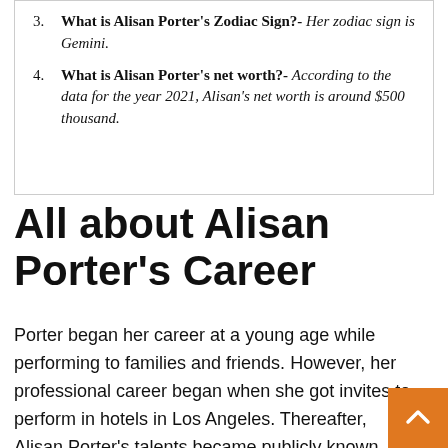3. What is Alisan Porter's Zodiac Sign?- Her zodiac sign is Gemini.
4. What is Alisan Porter's net worth?- According to the data for the year 2021, Alisan's net worth is around $500 thousand.
All about Alisan Porter's Career
Porter began her career at a young age while performing to families and friends. However, her professional career began when she got invites to perform in hotels in Los Angeles. Thereafter, Alisan Porter's talents became publicly known, and she received invitations to do more performance for